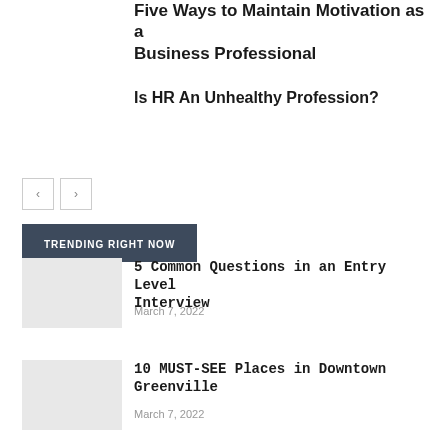Five Ways to Maintain Motivation as a Business Professional
Is HR An Unhealthy Profession?
[Figure (other): Navigation previous and next arrow buttons]
TRENDING RIGHT NOW
5 Common Questions in an Entry Level Interview
March 7, 2022
10 MUST-SEE Places in Downtown Greenville
March 7, 2022